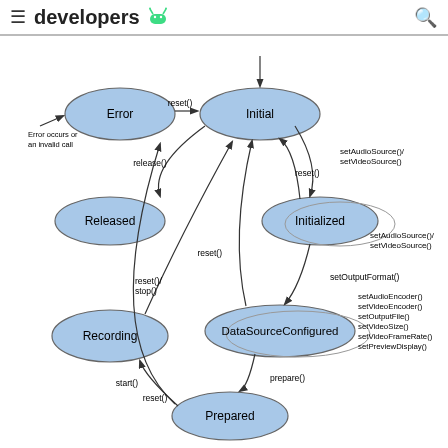developers (Android logo)
[Figure (flowchart): Android MediaRecorder state diagram showing states: Initial, Initialized, DataSourceConfigured, Prepared, Recording, Released, Error — connected by method call transitions including reset(), release(), setAudioSource()/setVideoSource(), setOutputFormat(), setAudioEncoder(), setVideoEncoder(), setOutputFile(), setVideoSize(), setVideoFrameRate(), setPreviewDisplay(), prepare(), start(), stop().]